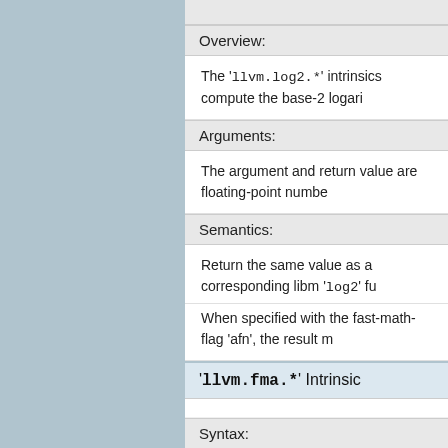Overview:
The 'llvm.log2.*' intrinsics compute the base-2 logarithm of their operand.
Arguments:
The argument and return value are floating-point numbers of the same type.
Semantics:
Return the same value as a corresponding libm 'log2' function.
When specified with the fast-math-flag 'afn', the result may be approximated using a less accurate calculation.
'llvm.fma.*' Intrinsic
Syntax:
This is an overloaded intrinsic. You can use llvm.fma on any floating-point or vector of floating-point type. Not all targets support all types however.